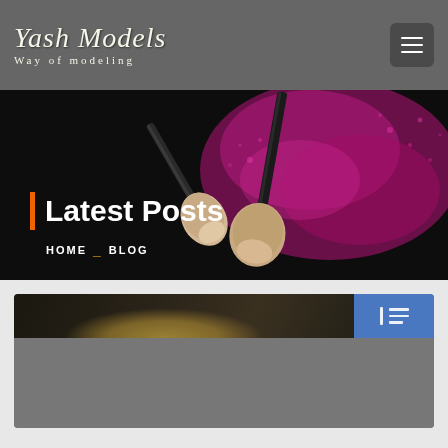Yash Models — Way of modeling
Latest Posts
HOME — BLOG
[Figure (screenshot): Blog post card with dark image of a person and blue social share button area]